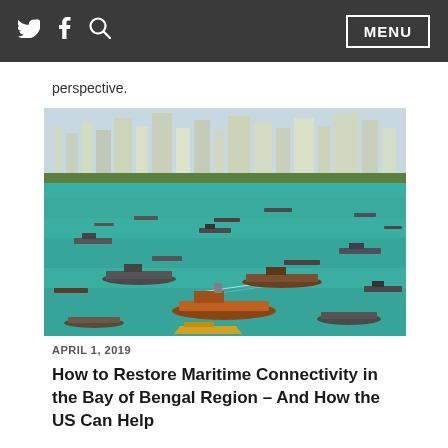Twitter | Facebook | Search | MENU
perspective.
[Figure (photo): Aerial view of a busy harbor with numerous cargo ships and tankers in turquoise water, with a city skyline in the background]
APRIL 1, 2019
How to Restore Maritime Connectivity in the Bay of Bengal Region – And How the US Can Help